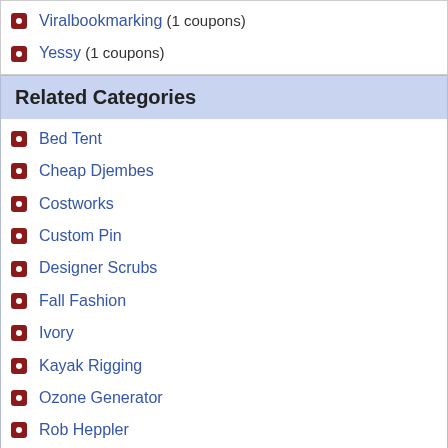Viralbookmarking (1 coupons)
Yessy (1 coupons)
Related Categories
Bed Tent
Cheap Djembes
Costworks
Custom Pin
Designer Scrubs
Fall Fashion
Ivory
Kayak Rigging
Ozone Generator
Rob Heppler
Sealgreen